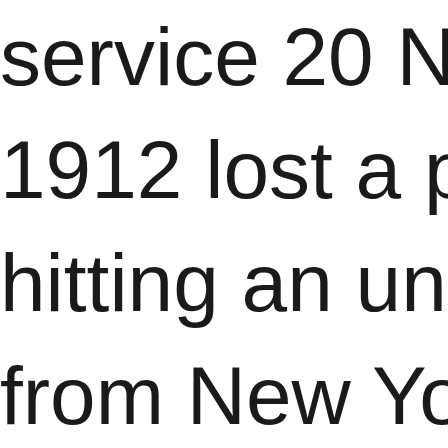service 20 November 1912 lost a portion hitting an unidentified from New York. For repairs, resources (blade) were used